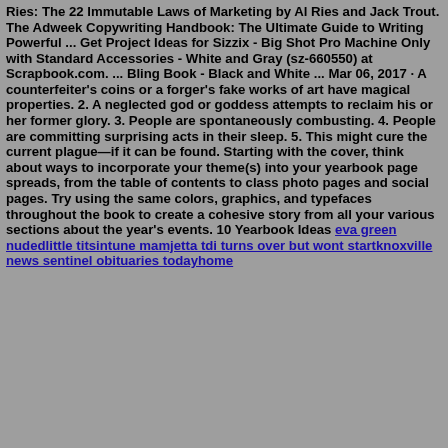Ries: The 22 Immutable Laws of Marketing by Al Ries and Jack Trout. The Adweek Copywriting Handbook: The Ultimate Guide to Writing Powerful ... Get Project Ideas for Sizzix - Big Shot Pro Machine Only with Standard Accessories - White and Gray (sz-660550) at Scrapbook.com. ... Bling Book - Black and White ... Mar 06, 2017 · A counterfeiter's coins or a forger's fake works of art have magical properties. 2. A neglected god or goddess attempts to reclaim his or her former glory. 3. People are spontaneously combusting. 4. People are committing surprising acts in their sleep. 5. This might cure the current plague—if it can be found. Starting with the cover, think about ways to incorporate your theme(s) into your yearbook page spreads, from the table of contents to class photo pages and social pages. Try using the same colors, graphics, and typefaces throughout the book to create a cohesive story from all your various sections about the year's events. 10 Yearbook Ideas eva green nudedlittle titsintune mamjetta tdi turns over but wont startknoxville news sentinel obituaries todayhome